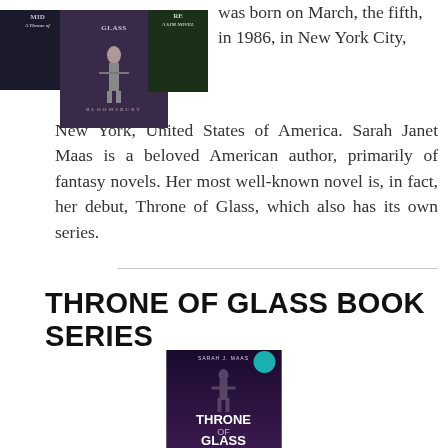[Figure (photo): Three book covers shown partially: left book dark cover, center book is 'Throne of Glass' with dark purple cover and figure, right book green cover]
was born on March, the fifth, in 1986, in New York City, New York, United States of America. Sarah Janet Maas is a beloved American author, primarily of fantasy novels. Her most well-known novel is, in fact, her debut, Throne of Glass, which also has its own series.
THRONE OF GLASS BOOK SERIES
[Figure (photo): Book cover of 'Throne of Glass' by Sarah J. Maas — dark purple/black cover with a warrior figure silhouette and teal badge]